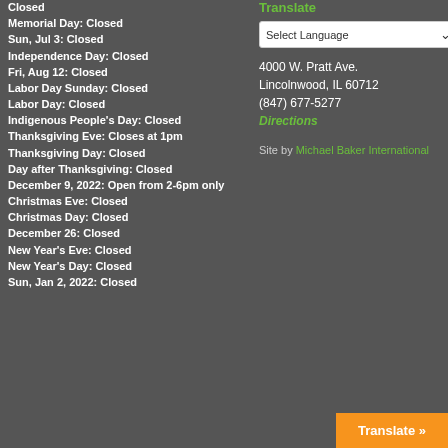Closed
Memorial Day: Closed
Sun, Jul 3: Closed
Independence Day: Closed
Fri, Aug 12: Closed
Labor Day Sunday: Closed
Labor Day: Closed
Indigenous People's Day: Closed
Thanksgiving Eve: Closes at 1pm
Thanksgiving Day: Closed
Day after Thanksgiving: Closed
December 9, 2022: Open from 2-6pm only
Christmas Eve: Closed
Christmas Day: Closed
December 26: Closed
New Year's Eve: Closed
New Year's Day: Closed
Sun, Jan 2, 2022: Closed
Translate
Select Language
4000 W. Pratt Ave.
Lincolnwood, IL 60712
(847) 677-5277
Directions
Site by Michael Baker International
Translate »